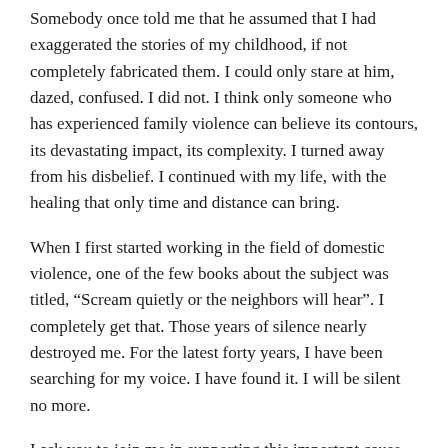Somebody once told me that he assumed that I had exaggerated the stories of my childhood, if not completely fabricated them.  I could only stare at him, dazed, confused.  I did not.  I think only someone who has experienced family violence can believe its contours, its devastating impact, its complexity.  I turned away from his disbelief.  I continued with my life, with the healing that only time and distance can bring.
When I first started working in the field of domestic violence, one of the few books about the subject was titled, “Scream quietly or the neighbors will hear”.  I completely get that.  Those years of silence nearly destroyed me.  For the latest forty years, I have been searching for my voice.  I have found it.  I will be silent no more.
I ask you to join me in supporting this important cause.  Give to Rose Brooks Center; or to a domestic violence agency of your choice.  If you need help, remember, there is a way.  Call the National Domestic Violence Hotline at 800-799-7233.